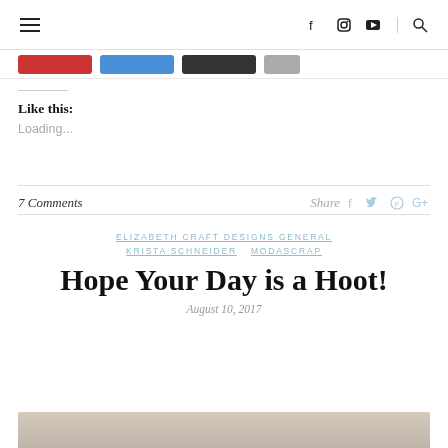≡  f  Instagram  YouTube  🔍
[Figure (screenshot): Social sharing buttons bar (red, blue, dark, gray)]
Like this:
Loading...
7 Comments   Share  f  Twitter  Pinterest  G+
ELIZABETH CRAFT DESIGNS GENERAL
KRISTA SCHNEIDER   MODASCRAP
Hope Your Day is a Hoot!
August 10, 2017
[Figure (photo): Partial image at bottom of page]